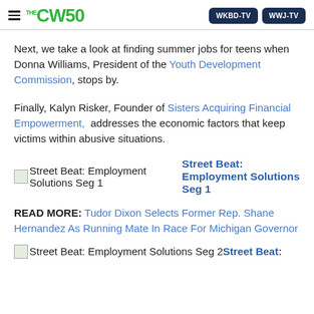THE CW50 | WKBD-TV | WWJ-TV
Next, we take a look at finding summer jobs for teens when Donna Williams, President of the Youth Development Commission, stops by.
Finally, Kalyn Risker, Founder of Sisters Acquiring Financial Empowerment, addresses the economic factors that keep victims within abusive situations.
[image] Street Beat: Employment Solutions Seg 1  Street Beat: Employment Solutions Seg 1
READ MORE: Tudor Dixon Selects Former Rep. Shane Hernandez As Running Mate In Race For Michigan Governor
[image] Street Beat: Employment Solutions Seg 2  Street Beat: